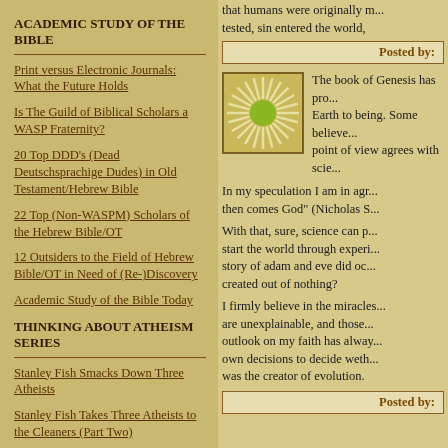that humans were originally m... tested, sin entered the world,
Posted by:
[Figure (illustration): Green circular sunburst/radial design on tan background]
The book of Genesis has pro... Earth to being. Some believe... point of view agrees with scie...
In my speculation I am in agr... then comes God" (Nicholas S...
With that, sure, science can p... start the world through experi... story of adam and eve did oc... created out of nothing?
I firmly believe in the miracles... are unexplainable, and those... outlook on my faith has alway... own decisions to decide weth... was the creator of evolution.
Posted by:
ACADEMIC STUDY OF THE BIBLE
Print versus Electronic Journals: What the Future Holds
Is The Guild of Biblical Scholars a WASP Fraternity?
20 Top DDD's (Dead Deutschsprachige Dudes) in Old Testament/Hebrew Bible
22 Top (Non-WASPM) Scholars of the Hebrew Bible/OT
12 Outsiders to the Field of Hebrew Bible/OT in Need of (Re-)Discovery
Academic Study of the Bible Today
THINKING ABOUT ATHEISM SERIES
Stanley Fish Smacks Down Three Atheists
Stanley Fish Takes Three Atheists to the Cleaners (Part Two)
Stanley Fish Wipes the Floor with...